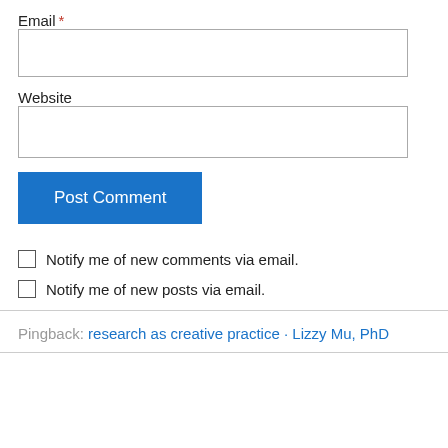Email *
Website
Post Comment
Notify me of new comments via email.
Notify me of new posts via email.
Pingback: research as creative practice · Lizzy Mu, PhD